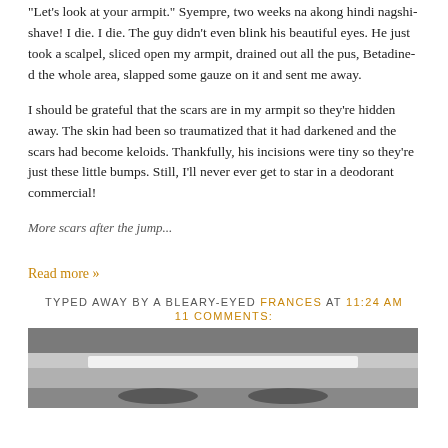"Let's look at your armpit." Syempre, two weeks na akong hindi nagshi-shave! I die. I die. The guy didn't even blink his beautiful eyes. He just took a scalpel, sliced open my armpit, drained out all the pus, Betadine-d the whole area, slapped some gauze on it and sent me away.
I should be grateful that the scars are in my armpit so they're hidden away. The skin had been so traumatized that it had darkened and the scars had become keloids. Thankfully, his incisions were tiny so they're just these little bumps. Still, I'll never ever get to star in a deodorant commercial!
More scars after the jump...
Read more »
TYPED AWAY BY A BLEARY-EYED FRANCES AT 11:24 AM
11 COMMENTS:
[Figure (photo): A blurred/blacked-out photograph, grayscale, showing an indistinct blurred image with a lighter horizontal band in the center]